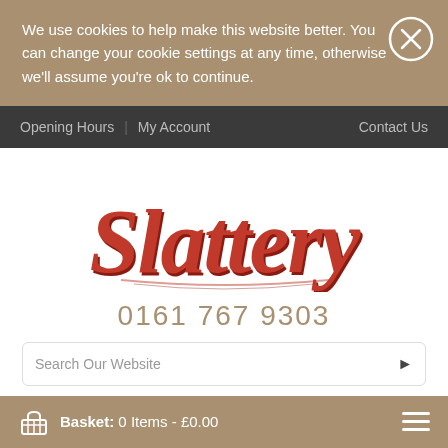We use cookies to help make this website better. You can change your cookie settings at any time, otherwise we'll assume you're ok to continue.
Opening Hours | My Account | Contact Us
[Figure (logo): Slattery logo in red cursive script]
0161 767 9303
Search Our Website
Basket: 0 Items - £0.00
Home / Cocoa